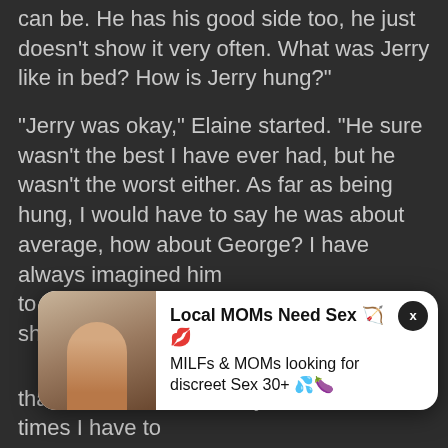can be. He has his good side too, he just doesn't show it very often. What was Jerry like in bed? How is Jerry hung?"
"Jerry was okay," Elaine started. "He sure wasn't the best I have ever had, but he wasn't the worst either. As far as being hung, I would have to say he was about average, how about George? I have always imagined him to be hung like a bull, a bull ant that is," she laughed.
[Figure (other): Advertisement popup overlay with photo of a woman and text: 'Local MOMs Need Sex [emoji] [emoji] MILFs & MOMs looking for discreet Sex 30+ [emoji][emoji]' with a close button (x).]
than a bull ant, but not by much. Some times I have to